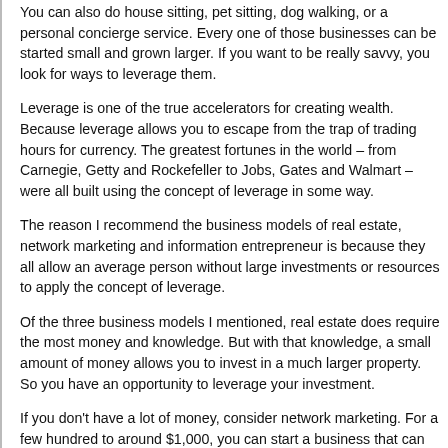You can also do house sitting, pet sitting, dog walking, or a personal concierge service. Every one of those businesses can be started small and grown larger. If you want to be really savvy, you look for ways to leverage them.
Leverage is one of the true accelerators for creating wealth. Because leverage allows you to escape from the trap of trading hours for currency. The greatest fortunes in the world – from Carnegie, Getty and Rockefeller to Jobs, Gates and Walmart – were all built using the concept of leverage in some way.
The reason I recommend the business models of real estate, network marketing and information entrepreneur is because they all allow an average person without large investments or resources to apply the concept of leverage.
Of the three business models I mentioned, real estate does require the most money and knowledge. But with that knowledge, a small amount of money allows you to invest in a much larger property. So you have an opportunity to leverage your investment.
If you don't have a lot of money, consider network marketing. For a few hundred to around $1,000, you can start a business that can eventually provide you a 5- or 6-figure residual income. There are many fine